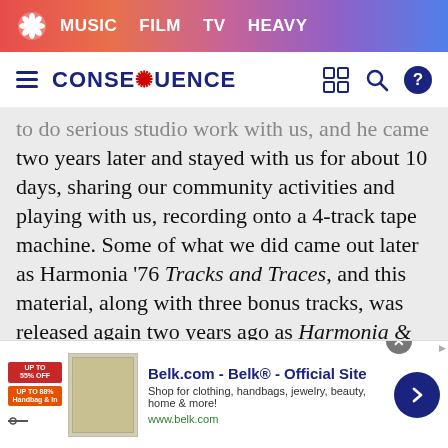MUSIC   FILM   TV   HEAVY
CONSEQUENCE
to do serious studio work with us, and he came two years later and stayed with us for about 10 days, sharing our community activities and playing with us, recording onto a 4-track tape machine. Some of what we did came out later as Harmonia '76 Tracks and Traces, and this material, along with three bonus tracks, was released again two years ago as Harmonia & Eno 1976 via Groenland-Records in London. We got along very well with him and he with us when he was there. He obviously liked the way we behaved in our little community and helped a lot, such as cutting
[Figure (screenshot): Advertisement for Belk.com showing logo, tagline 'Belk® - Official Site', subtext 'Shop for clothing, handbags, jewelry, beauty, home & more!', URL www.belk.com, product image, and navigation arrow button]